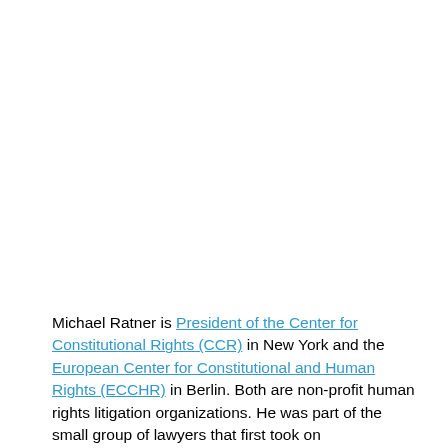Michael Ratner is President of the Center for Constitutional Rights (CCR) in New York and the European Center for Constitutional and Human Rights (ECCHR) in Berlin. Both are non-profit human rights litigation organizations. He was part of the small group of lawyers that first took on representation of the Guantánamo detainees in January